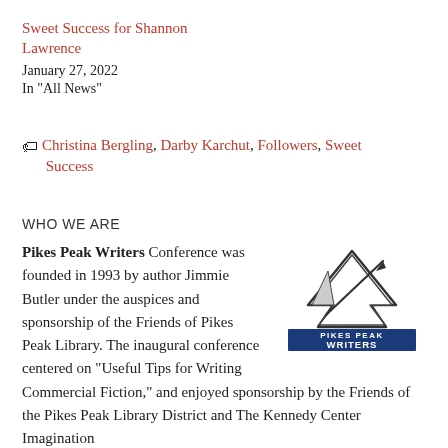Sweet Success for Shannon Lawrence
January 27, 2022
In "All News"
🏷 Christina Bergling, Darby Karchut, Followers, Sweet Success
WHO WE ARE
[Figure (logo): Pikes Peak Writers logo with mountain peak and quill pen graphic above the text PIKES PEAK WRITERS in blue]
Pikes Peak Writers Conference was founded in 1993 by author Jimmie Butler under the auspices and sponsorship of the Friends of Pikes Peak Library. The inaugural conference centered on “Useful Tips for Writing Commercial Fiction,” and enjoyed sponsorship by the Friends of the Pikes Peak Library District and The Kennedy Center Imagination